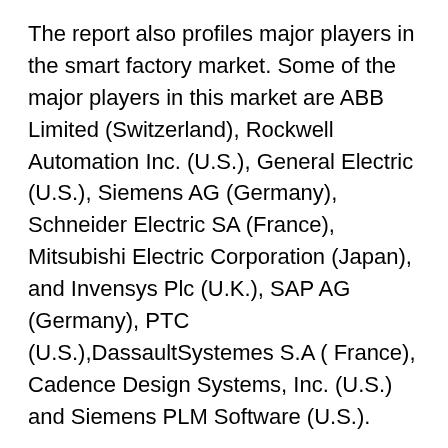The report also profiles major players in the smart factory market. Some of the major players in this market are ABB Limited (Switzerland), Rockwell Automation Inc. (U.S.), General Electric (U.S.), Siemens AG (Germany), Schneider Electric SA (France), Mitsubishi Electric Corporation (Japan), and Invensys Plc (U.K.), SAP AG (Germany), PTC (U.S.),DassaultSystemes S.A ( France), Cadence Design Systems, Inc. (U.S.) and Siemens PLM Software (U.S.).
About Fast Market Research
Fast Market Research is a leading distributor of market research and business information. Representing the world's top research publishers